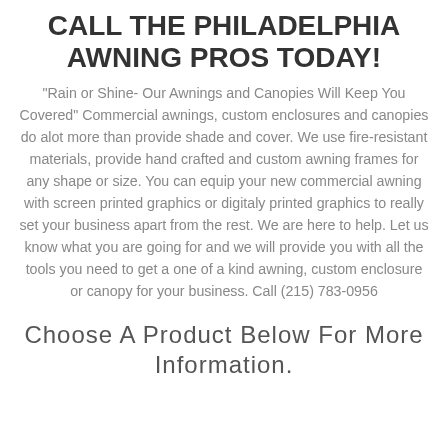CALL THE PHILADELPHIA AWNING PROS TODAY!
"Rain or Shine- Our Awnings and Canopies Will Keep You Covered" Commercial awnings, custom enclosures and canopies do alot more than provide shade and cover. We use fire-resistant materials, provide hand crafted and custom awning frames for any shape or size. You can equip your new commercial awning with screen printed graphics or digitaly printed graphics to really set your business apart from the rest. We are here to help. Let us know what you are going for and we will provide you with all the tools you need to get a one of a kind awning, custom enclosure or canopy for your business. Call (215) 783-0956
Choose A Product Below For More Information.